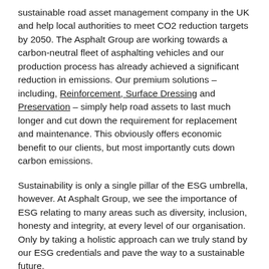sustainable road asset management company in the UK and help local authorities to meet CO2 reduction targets by 2050. The Asphalt Group are working towards a carbon-neutral fleet of asphalting vehicles and our production process has already achieved a significant reduction in emissions. Our premium solutions – including, Reinforcement, Surface Dressing and Preservation – simply help road assets to last much longer and cut down the requirement for replacement and maintenance. This obviously offers economic benefit to our clients, but most importantly cuts down carbon emissions.
Sustainability is only a single pillar of the ESG umbrella, however. At Asphalt Group, we see the importance of ESG relating to many areas such as diversity, inclusion, honesty and integrity, at every level of our organisation. Only by taking a holistic approach can we truly stand by our ESG credentials and pave the way to a sustainable future.